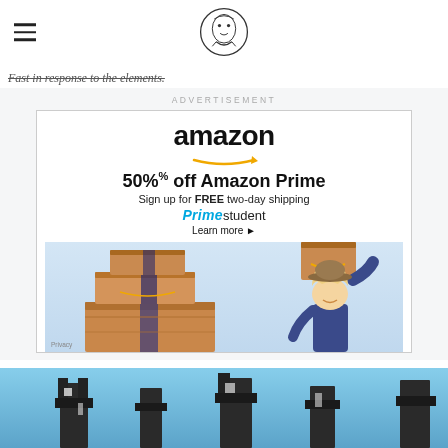Fast in response to the elements.
[Figure (logo): Newspaper/publication logo - illustrated figure icon]
Fast in response to the elements.
[Figure (infographic): Amazon Prime Student advertisement: '50% off Amazon Prime - Sign up for FREE two-day shipping - Prime student - Learn more'. Shows stacked Amazon boxes and a woman balancing a box on her head.]
[Figure (photo): Bottom portion of page showing sky and dark sculptural structures]